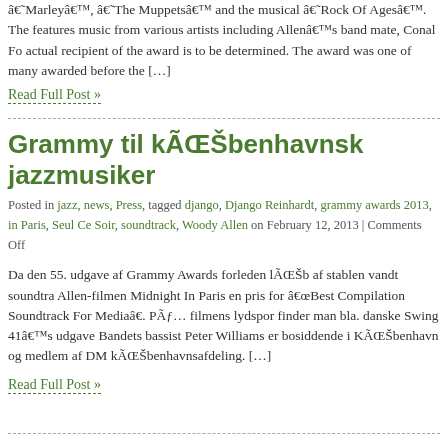â€˜Marleyâ€™, â€˜The Muppetsâ€™ and the musical â€˜Rock Of Agesâ€™. The features music from various artists including Allenâ€™s band mate, Conal Fo actual recipient of the award is to be determined. The award was one of many awarded before the […]
Read Full Post »
Grammy til kÃ¸benhavnsk jazzmusiker
Posted in jazz, news, Press, tagged django, Django Reinhardt, grammy awards 2013, in Paris, Seul Ce Soir, soundtrack, Woody Allen on February 12, 2013 | Comments Off
Da den 55. udgave af Grammy Awards forleden lÃ¸b af stablen vandt soundtra Allen-filmen Midnight In Paris en pris for â€œBest Compilation Soundtrack For Mediaâ€. PÃ¥ filmens lydspor finder man bla. danske Swing 41â€™s udgave Bandets bassist Peter Williams er bosiddende i KÃ¸benhavn og medlem af DM kÃ¸benhavnsafdeling. […]
Read Full Post »